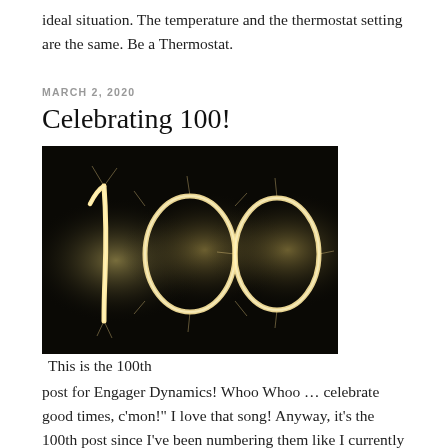ideal situation. The temperature and the thermostat setting are the same. Be a Thermostat.
MARCH 2, 2020
Celebrating 100!
[Figure (photo): Sparkler photo of the number '100' written in sparkling light against a black background]
This is the 100th post for Engager Dynamics! Whoo Whoo … celebrate good times, c'mon!" I love that song! Anyway, it's the 100th post since I've been numbering them like I currently do. I write my posts in Evernote then copy and